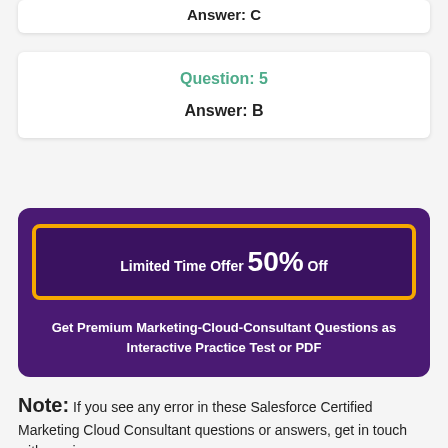Answer: C
Question: 5
Answer: B
Limited Time Offer 50% Off
Get Premium Marketing-Cloud-Consultant Questions as Interactive Practice Test or PDF
Note: If you see any error in these Salesforce Certified Marketing Cloud Consultant questions or answers, get in touch with us via